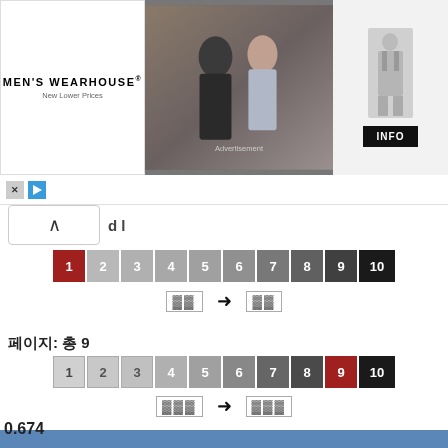[Figure (screenshot): Men's Wearhouse advertisement banner with couple in formalwear and man in grey suit with INFO button]
[Figure (screenshot): Pagination bar with numbers 1-10, number 1 highlighted in red/dark, with Korean text arrow navigation]
페이지: 총 9
[Figure (screenshot): Second pagination bar with numbers 1-10, number 9 highlighted in red, with Korean text arrow navigation]
wordow.com 2021
0.674